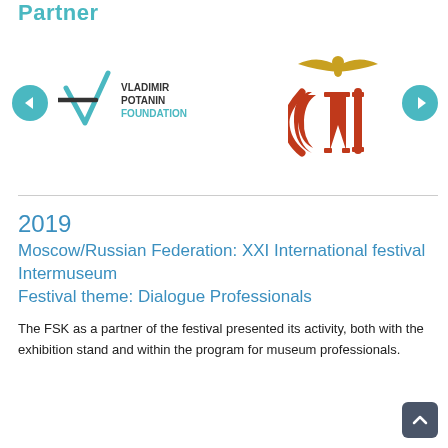Partner
[Figure (logo): Vladimir Potanin Foundation logo with checkmark/slash V icon and text VLADIMIR POTANIN FOUNDATION]
[Figure (logo): Orange decorative OM/museum logo with golden bird/eagle at top]
2019
Moscow/Russian Federation: XXI International festival Intermuseum
Festival theme: Dialogue Professionals
The FSK as a partner of the festival presented its activity, both with the exhibition stand and within the program for museum professionals.